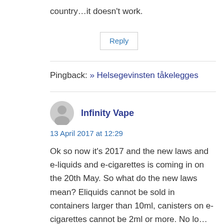country…it doesn't work.
Reply
Pingback: » Helsegevinsten tåkelegges
Infinity Vape
13 April 2017 at 12:29
Ok so now it's 2017 and the new laws and e-liquids and e-cigarettes is coming in on the 20th May. So what do the new laws mean? Eliquids cannot be sold in containers larger than 10ml, canisters on e-cigarettes cannot be 2ml or more. No long...